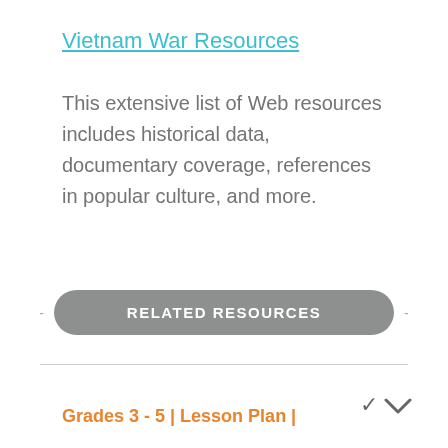Vietnam War Resources
This extensive list of Web resources includes historical data, documentary coverage, references in popular culture, and more.
RELATED RESOURCES
Grades 3 - 5 | Lesson Plan |